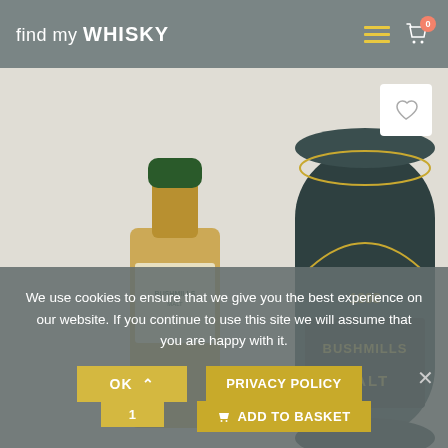find my WHISKY
[Figure (photo): A Bushmills Malt whisky bottle with green cap and label beside its dark green cylindrical tin canister showing '1608' and 'BUSHMILLS MALT' text, photographed on a light background.]
We use cookies to ensure that we give you the best experience on our website. If you continue to use this site we will assume that you are happy with it.
OK  PRIVACY POLICY  ADD TO BASKET